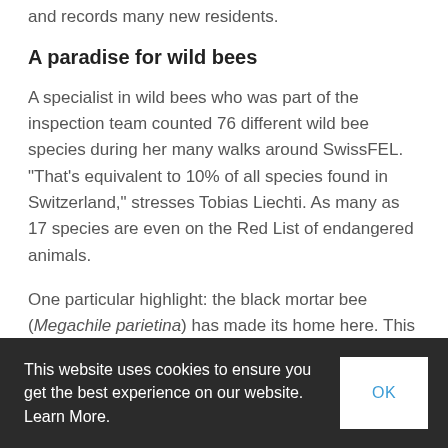and records many new residents.
A paradise for wild bees
A specialist in wild bees who was part of the inspection team counted 76 different wild bee species during her many walks around SwissFEL. "That's equivalent to 10% of all species found in Switzerland," stresses Tobias Liechti. As many as 17 species are even on the Red List of endangered animals.
One particular highlight: the black mortar bee (Megachile parietina) has made its home here. This species of wild bee is threatened with extinction in Switzerland: there are only a few remaining populations in the Valais and in northeast Switzerland. To feed enough pollen and nectar to just one offspring, this bee
This website uses cookies to ensure you get the best experience on our website. Learn More.